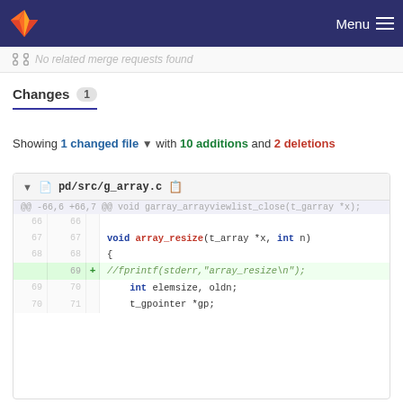GitLab — Menu
No related merge requests found
Changes 1
Showing 1 changed file with 10 additions and 2 deletions
| old | new | + | code |
| --- | --- | --- | --- |
| ... | ... |  | @@ -66,6 +66,7 @@ void garray_arrayviewlist_close(t_garray *x); |
| 66 | 66 |  |  |
| 67 | 67 |  | void array_resize(t_array *x, int n) |
| 68 | 68 |  | { |
|  | 69 | + | //fprintf(stderr,"array_resize\n"); |
| 69 | 70 |  |     int elemsize, oldn; |
| 70 | 71 |  |     t_gpointer *gp; |